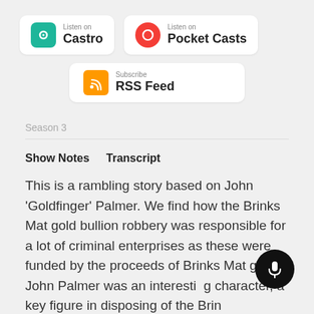[Figure (logo): Listen on Castro badge with teal icon]
[Figure (logo): Listen on Pocket Casts badge with red circular icon]
[Figure (logo): Subscribe RSS Feed badge with orange RSS icon]
Season 3
Show Notes   Transcript
This is a rambling story based on John 'Goldfinger' Palmer. We find how the Brinks Mat gold bullion robbery was responsible for a lot of criminal enterprises as these were funded by the proceeds of Brinks Mat gold. John Palmer was an interesting character, a key figure in disposing of the Brinks Mat gold.